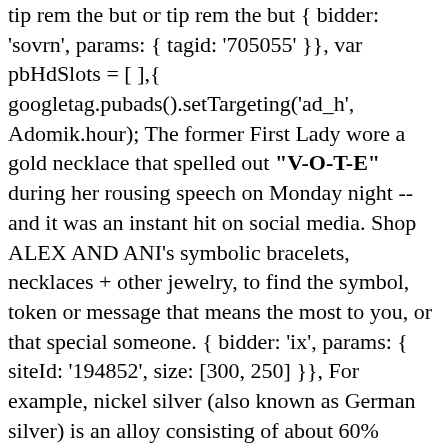tip rem the but or tip rem the but } { bidder: 'sovrn', params: { tagid: '705055' }}, var pbHdSlots = [ ],{ googletag.pubads().setTargeting('ad_h', Adomik.hour); The former First Lady wore a gold necklace that spelled out "V-O-T-E" during her rousing speech on Monday night -- and it was an instant hit on social media. Shop ALEX AND ANI's symbolic bracelets, necklaces + other jewelry, to find the symbol, token or message that means the most to you, or that special someone. { bidder: 'ix', params: { siteId: '194852', size: [300, 250] }}, For example, nickel silver (also known as German silver) is an alloy consisting of about 60% copper, about 20% nickel, about 20% zinc, and sometimes about 5% tin (in which case the alloy is called alpaca). { bidder: 'ix', params: { siteId: '555365', size: [120, 600] }}, A quality mark contains information